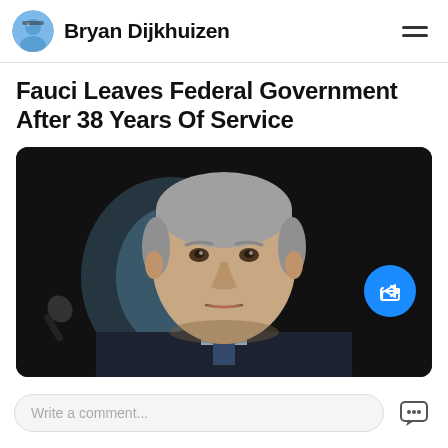Bryan Dijkhuizen
Fauci Leaves Federal Government After 38 Years Of Service
[Figure (photo): Close-up photo of Anthony Fauci speaking at what appears to be a Senate hearing, with a microphone visible in the lower left. Dark background with a soft blue-white glow behind him. He is an older man with gray hair wearing a suit.]
Write a comment...